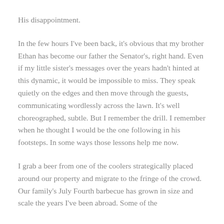His disappointment.
In the few hours I've been back, it's obvious that my brother Ethan has become our father the Senator's, right hand. Even if my little sister's messages over the years hadn't hinted at this dynamic, it would be impossible to miss. They speak quietly on the edges and then move through the guests, communicating wordlessly across the lawn. It's well choreographed, subtle. But I remember the drill. I remember when he thought I would be the one following in his footsteps. In some ways those lessons help me now.
I grab a beer from one of the coolers strategically placed around our property and migrate to the fringe of the crowd. Our family's July Fourth barbecue has grown in size and scale the years I've been abroad. Some of the